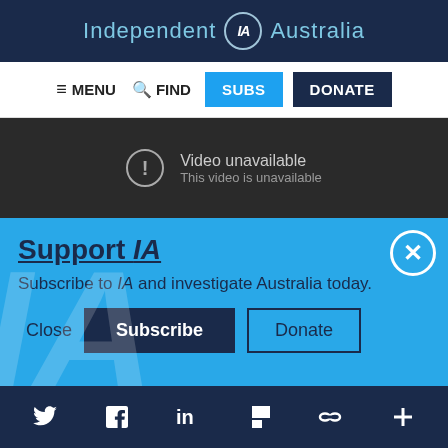Independent IA Australia
[Figure (screenshot): Navigation bar with MENU, FIND, SUBS, DONATE buttons]
[Figure (screenshot): Video unavailable - This video is unavailable]
Support IA
Subscribe to IA and investigate Australia today.
Close  Subscribe  Donate
Social icons: Twitter, Facebook, LinkedIn, Flipboard, Link, Plus